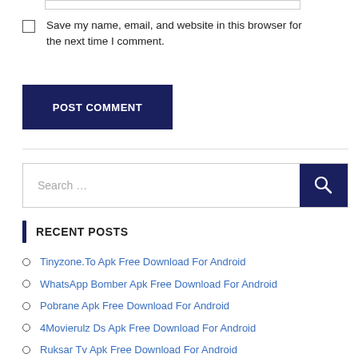Save my name, email, and website in this browser for the next time I comment.
POST COMMENT
[Figure (other): Search bar with a dark blue search button containing a magnifying glass icon]
RECENT POSTS
Tinyzone.To Apk Free Download For Android
WhatsApp Bomber Apk Free Download For Android
Pobrane Apk Free Download For Android
4Movierulz Ds Apk Free Download For Android
Ruksar Tv Apk Free Download For Android